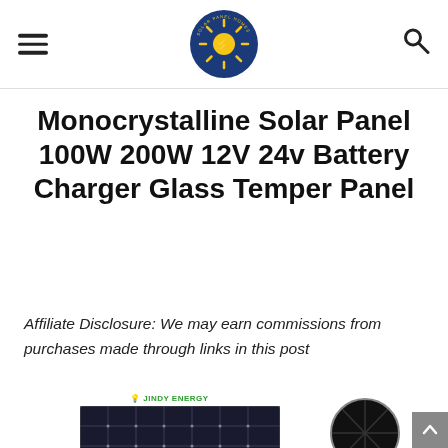Solar Panel Homes logo with hamburger menu and search icon
Monocrystalline Solar Panel 100W 200W 12V 24v Battery Charger Glass Temper Panel
Affiliate Disclosure: We may earn commissions from purchases made through links in this post
[Figure (photo): Product photo of a monocrystalline solar panel (rectangular) next to a round solar panel, with JINDY ENERGY branding visible at top]